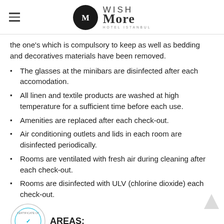Wish More Hotel Istanbul
the one's which is compulsory to keep as well as bedding and decoratives materials have been removed.
The glasses at the minibars are disinfected after each accomodation.
All linen and textile products are washed at high temperature for a sufficient time before each use.
Amenities are replaced after each check-out.
Air conditioning outlets and lids in each room are disinfected periodically.
Rooms are ventilated with fresh air during cleaning after each check-out.
Rooms are disinfected with ULV (chlorine dioxide) each check-out.
[Figure (logo): Safe Tourism Turkey certificate badge - circular logo with checkmark]
AREAS;